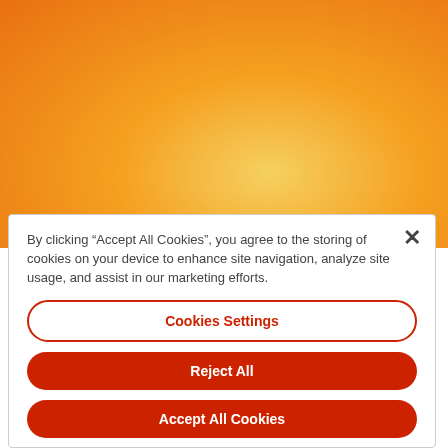[Figure (illustration): Orange-yellow radial gradient background filling the top portion of the page]
By clicking “Accept All Cookies”, you agree to the storing of cookies on your device to enhance site navigation, analyze site usage, and assist in our marketing efforts.
Cookies Settings
Reject All
Accept All Cookies